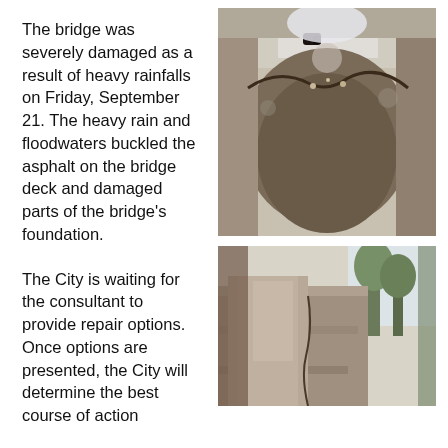The bridge was severely damaged as a result of heavy rainfalls on Friday, September 21. The heavy rain and floodwaters buckled the asphalt on the bridge deck and damaged parts of the bridge’s foundation.
[Figure (photo): Close-up photo of damaged bridge underside showing cracked stone/concrete arch with exposed rebar and flood damage]
The City is waiting for the consultant to provide repair options. Once options are presented, the City will determine the best course of action
[Figure (photo): Photo of bridge foundation/abutment showing flood and structural damage with trees visible in background]